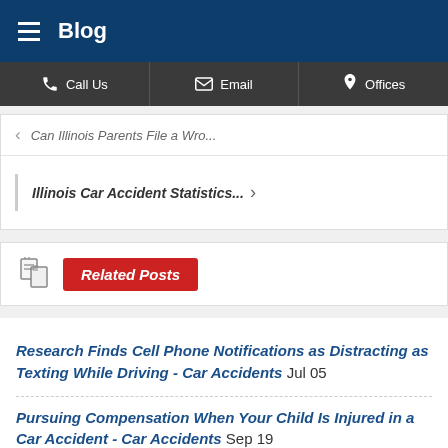Blog
Call Us | Email | Offices
< Can Illinois Parents File a Wro...
Illinois Car Accident Statistics... >
Related Posts
Research Finds Cell Phone Notifications as Distracting as Texting While Driving - Car Accidents Jul 05
Pursuing Compensation When Your Child Is Injured in a Car Accident - Car Accidents Sep 19